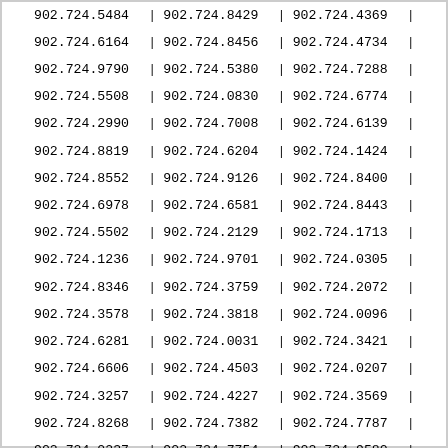| Col1 | Col2 | Col3 |
| --- | --- | --- |
| 902.724.5484 | 902.724.8429 | 902.724.4369 |
| 902.724.6164 | 902.724.8456 | 902.724.4734 |
| 902.724.9790 | 902.724.5380 | 902.724.7288 |
| 902.724.5508 | 902.724.0830 | 902.724.6774 |
| 902.724.2990 | 902.724.7008 | 902.724.6139 |
| 902.724.8819 | 902.724.6204 | 902.724.1424 |
| 902.724.8552 | 902.724.9126 | 902.724.8400 |
| 902.724.6978 | 902.724.6581 | 902.724.8443 |
| 902.724.5502 | 902.724.2129 | 902.724.1713 |
| 902.724.1236 | 902.724.9701 | 902.724.0305 |
| 902.724.8346 | 902.724.3759 | 902.724.2072 |
| 902.724.3578 | 902.724.3818 | 902.724.0096 |
| 902.724.6281 | 902.724.0031 | 902.724.3421 |
| 902.724.6606 | 902.724.4503 | 902.724.0207 |
| 902.724.3257 | 902.724.4227 | 902.724.3569 |
| 902.724.8268 | 902.724.7382 | 902.724.7787 |
| 902.724.0237 | 902.724.7754 | 902.724.9580 |
| 902.724.6445 | 902.724.1581 | 902.724.5581 |
| 902.724.6649 | 902.724.3533 | 902.724.0710 |